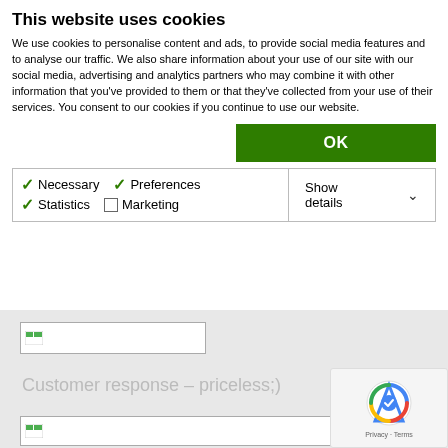This website uses cookies
We use cookies to personalise content and ads, to provide social media features and to analyse our traffic. We also share information about your use of our site with our social media, advertising and analytics partners who may combine it with other information that you've provided to them or that they've collected from your use of their services. You consent to our cookies if you continue to use our website.
[Figure (screenshot): Cookie consent dialog with OK button and checkbox options for Necessary, Preferences, Statistics, and Marketing cookies, plus Show details dropdown]
Customer response – priceless;)
[Figure (screenshot): Placeholder image thumbnail at bottom of page]
[Figure (logo): reCAPTCHA badge with Privacy and Terms links]